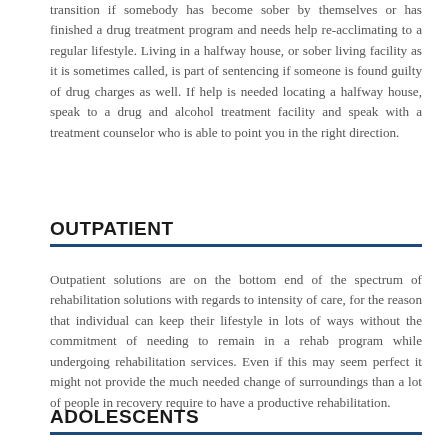transition if somebody has become sober by themselves or has finished a drug treatment program and needs help re-acclimating to a regular lifestyle. Living in a halfway house, or sober living facility as it is sometimes called, is part of sentencing if someone is found guilty of drug charges as well. If help is needed locating a halfway house, speak to a drug and alcohol treatment facility and speak with a treatment counselor who is able to point you in the right direction.
OUTPATIENT
Outpatient solutions are on the bottom end of the spectrum of rehabilitation solutions with regards to intensity of care, for the reason that individual can keep their lifestyle in lots of ways without the commitment of needing to remain in a rehab program while undergoing rehabilitation services. Even if this may seem perfect it might not provide the much needed change of surroundings than a lot of people in recovery require to have a productive rehabilitation.
ADOLESCENTS